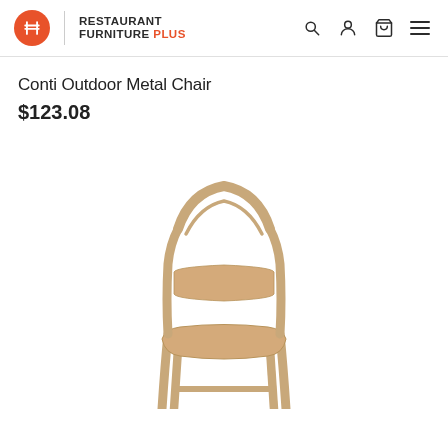Restaurant Furniture Plus
Conti Outdoor Metal Chair
$123.08
[Figure (photo): A wooden dining chair with a rounded back rest, horizontal back slat, and solid seat, shown in a natural light wood finish against a white background.]